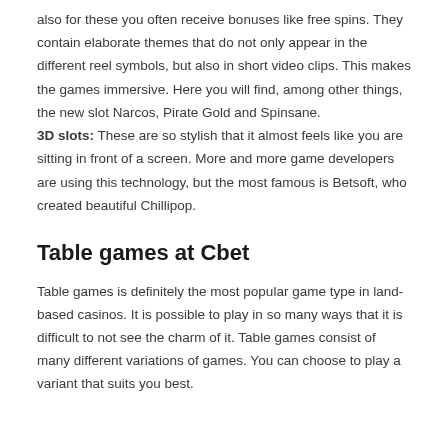also for these you often receive bonuses like free spins. They contain elaborate themes that do not only appear in the different reel symbols, but also in short video clips. This makes the games immersive. Here you will find, among other things, the new slot Narcos, Pirate Gold and Spinsane. 3D slots: These are so stylish that it almost feels like you are sitting in front of a screen. More and more game developers are using this technology, but the most famous is Betsoft, who created beautiful Chillipop.
Table games at Cbet
Table games is definitely the most popular game type in land-based casinos. It is possible to play in so many ways that it is difficult to not see the charm of it. Table games consist of many different variations of games. You can choose to play a variant that suits you best.